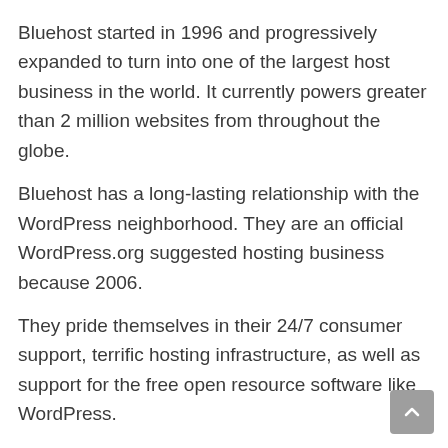Bluehost started in 1996 and progressively expanded to turn into one of the largest host business in the world. It currently powers greater than 2 million websites from throughout the globe.
Bluehost has a long-lasting relationship with the WordPress neighborhood. They are an official WordPress.org suggested hosting business because 2006.
They pride themselves in their 24/7 consumer support, terrific hosting infrastructure, as well as support for the free open resource software like WordPress.